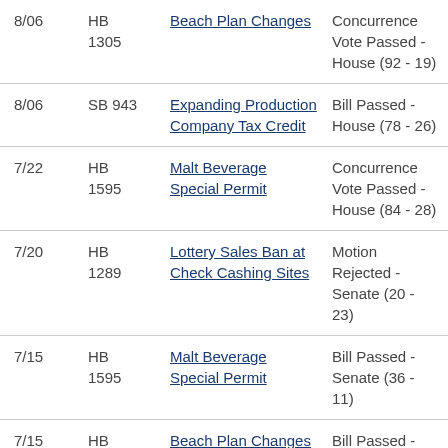| Date | Bill | Title | Action |
| --- | --- | --- | --- |
| 8/06 | HB 1305 | Beach Plan Changes | Concurrence Vote Passed - House (92 - 19) |
| 8/06 | SB 943 | Expanding Production Company Tax Credit | Bill Passed - House (78 - 26) |
| 7/22 | HB 1595 | Malt Beverage Special Permit | Concurrence Vote Passed - House (84 - 28) |
| 7/20 | HB 1289 | Lottery Sales Ban at Check Cashing Sites | Motion Rejected - Senate (20 - 23) |
| 7/15 | HB 1595 | Malt Beverage Special Permit | Bill Passed - Senate (36 - 11) |
| 7/15 | HB | Beach Plan Changes | Bill Passed - |